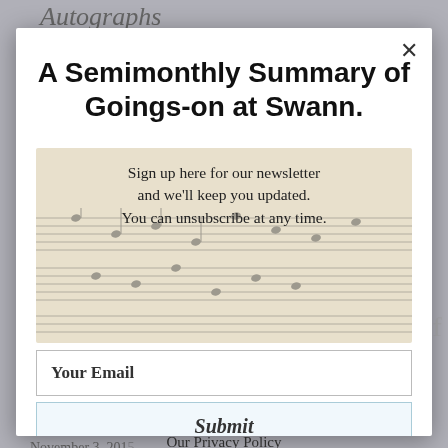Autographs
A Semimonthly Summary of Goings-on at Swann.
[Figure (illustration): Newsletter signup modal overlay with sheet music image background showing handwritten musical score on aged paper]
Sign up here for our newsletter and we'll keep you updated. You can unsubscribe at any time.
Your Email
Submit
The Jimmy Van Heusen Collection of Musical Autographs
TOP
Yes, I want email updates from Swann Auction Galleries.
Our Privacy Policy
Autographs
November 3, 2015